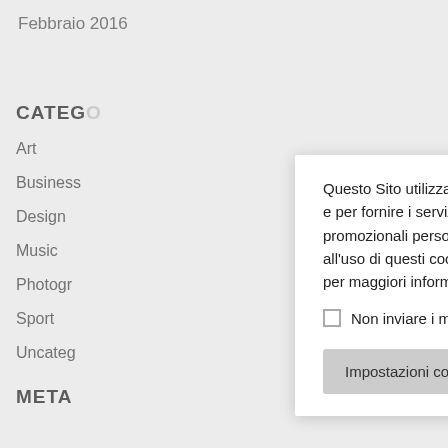Febbraio 2016
CATEGO
Art
Business
Design
Music
Photogr
Sport
Uncateg
META
Questo Sito utilizza cookie e tecnologie simili, anche di terze parti, per il funzionamento del Sito e per fornire i servizi offerti, per ottenere statistiche sull'utilizzo del Sito e per inviarti messaggi promozionali personalizzati in linea con le tue preferenze. Cliccando su 'Accetta', acconsenti all'uso di questi cookie. Per gestire o disabilitare questi cookie clicca su 'Impostazioni cookie' o per maggiori informazioni visita la nostra privacy policy .
Non inviare i miei dati personali.
Impostazioni cookie
Accetta